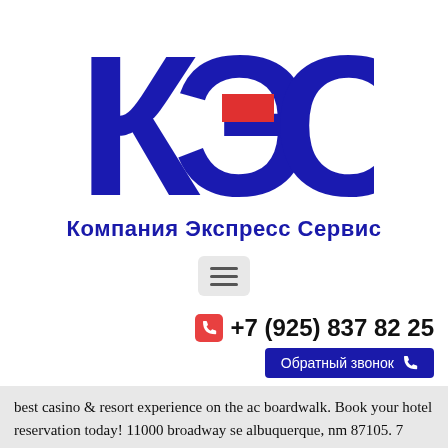[Figure (logo): КЭС logo with large dark blue Cyrillic letters К, Э, С. The letter Э has a red rectangle accent in its middle. Below the letters: Компания Экспресс Сервис in bold dark blue.]
[Figure (other): Hamburger menu button icon (three horizontal lines) in a light gray rounded rectangle.]
+7 (925) 837 82 25
Обратный звонок
best casino & resort experience on the ac boardwalk. Book your hotel reservation today! 11000 broadway se albuquerque, nm 87105. 7 minutes south of downtown albuquerque at interstate 25 & highway 47, exit 215. Casino7 считается одним из наилучших